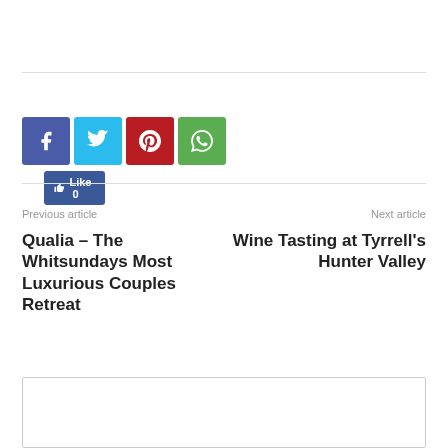[Figure (infographic): Facebook Like button showing count of 0]
[Figure (infographic): Social sharing icons: Facebook (blue), Twitter (light blue), Pinterest (red), WhatsApp (green)]
Previous article
Next article
Qualia – The Whitsundays Most Luxurious Couples Retreat
Wine Tasting at Tyrrell's Hunter Valley